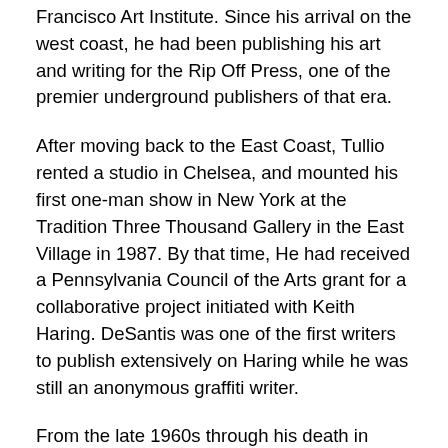Francisco Art Institute. Since his arrival on the west coast, he had been publishing his art and writing for the Rip Off Press, one of the premier underground publishers of that era.
After moving back to the East Coast, Tullio rented a studio in Chelsea, and mounted his first one-man show in New York at the Tradition Three Thousand Gallery in the East Village in 1987. By that time, He had received a Pennsylvania Council of the Arts grant for a collaborative project initiated with Keith Haring. DeSantis was one of the first writers to publish extensively on Haring while he was still an anonymous graffiti writer.
From the late 1960s through his death in 1994, poet Allen Ginsberg and Tullio DeSantis carried on a philosophical and aesthetic relationship yielding several poems and